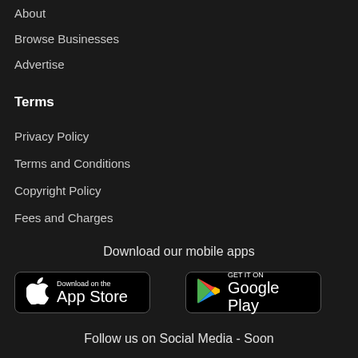About
Browse Businesses
Advertise
Terms
Privacy Policy
Terms and Conditions
Copyright Policy
Fees and Charges
Download our mobile apps
[Figure (logo): Download on the App Store badge]
[Figure (logo): Get it on Google Play badge]
Follow us on Social Media - Soon